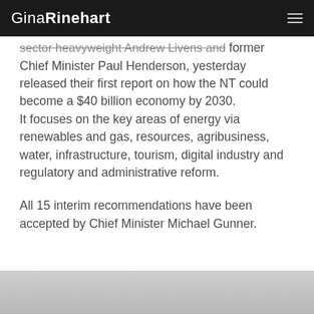GinaRinehart
sector heavyweight Andrew Livens and former Chief Minister Paul Henderson, yesterday released their first report on how the NT could become a $40 billion economy by 2030.
It focuses on the key areas of energy via renewables and gas, resources, agribusiness, water, infrastructure, tourism, digital industry and regulatory and administrative reform.
All 15 interim recommendations have been accepted by Chief Minister Michael Gunner.
[Figure (photo): Partial view of a person's face/portrait photo at the bottom of the page, cropped]